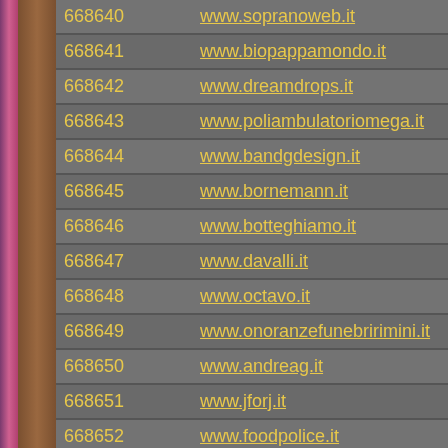| ID | URL |
| --- | --- |
| 668640 | www.sopranoweb.it |
| 668641 | www.biopappamondo.it |
| 668642 | www.dreamdrops.it |
| 668643 | www.poliambulatoriomega.it |
| 668644 | www.bandgdesign.it |
| 668645 | www.bornemann.it |
| 668646 | www.botteghiamo.it |
| 668647 | www.davalli.it |
| 668648 | www.octavo.it |
| 668649 | www.onoranzefunebririmini.it |
| 668650 | www.andreag.it |
| 668651 | www.jforj.it |
| 668652 | www.foodpolice.it |
| 668653 | www.hintdesign.it |
| 668654 | www.gdec.it |
| 668655 | www.spedivan.it |